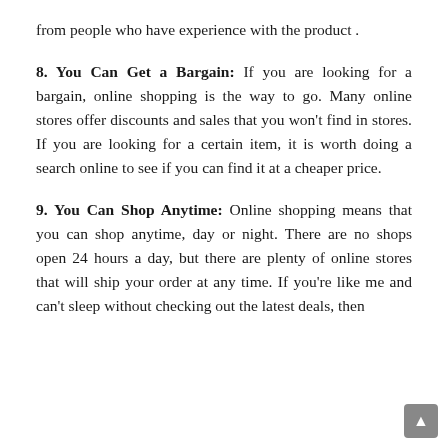from people who have experience with the product.
8. You Can Get a Bargain: If you are looking for a bargain, online shopping is the way to go. Many online stores offer discounts and sales that you won't find in stores. If you are looking for a certain item, it is worth doing a search online to see if you can find it at a cheaper price.
9. You Can Shop Anytime: Online shopping means that you can shop anytime, day or night. There are no shops open 24 hours a day, but there are plenty of online stores that will ship your order at any time. If you're like me and can't sleep without checking out the latest deals, then